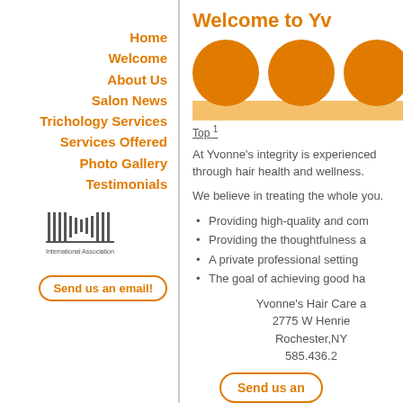Home
Welcome
About Us
Salon News
Trichology Services
Services Offered
Photo Gallery
Testimonials
[Figure (logo): International Association logo with vertical lines]
Send us an email!
Welcome to Yv
[Figure (illustration): Three orange circles above an orange/yellow bar]
Top 1
At Yvonne's integrity is experienced through hair health and wellness.
We believe in treating the whole you.
Providing high-quality and com
Providing the thoughtfulness a
A private professional setting
The goal of achieving good ha
Yvonne's Hair Care a
2775 W Henrie
Rochester,NY
585.436.2
Send us an